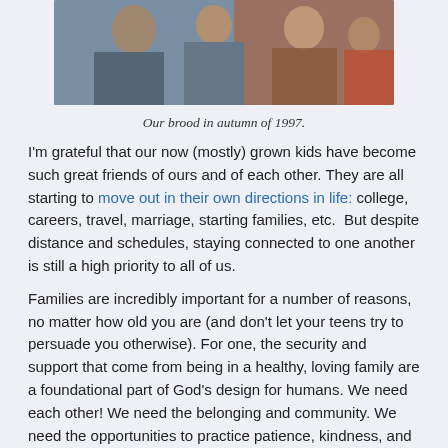[Figure (photo): Family photo showing group of people sitting together outdoors, cropped showing upper portion]
Our brood in autumn of 1997.
I'm grateful that our now (mostly) grown kids have become such great friends of ours and of each other. They are all starting to move out in their own directions in life: college, careers, travel, marriage, starting families, etc.  But despite distance and schedules, staying connected to one another is still a high priority to all of us.
Families are incredibly important for a number of reasons, no matter how old you are (and don't let your teens try to persuade you otherwise). For one, the security and support that come from being in a healthy, loving family are a foundational part of God's design for humans. We need each other! We need the belonging and community. We need the opportunities to practice patience, kindness, and generosity. We need the “iron sharpening iron” effect of learning to live in harmony with (other) imperfect humans. There’s no better place to learn these graces than in a family.
Our family has always found that a great way to maintain family